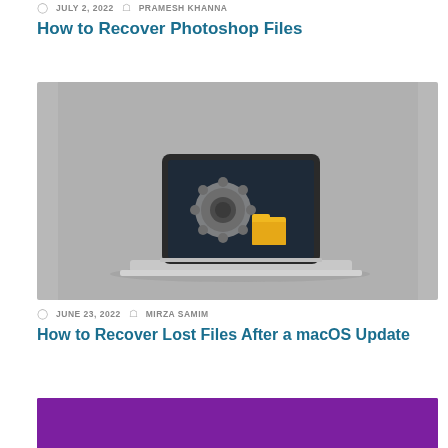JULY 2, 2022  PRAMESH KHANNA
How to Recover Photoshop Files
[Figure (photo): Laptop with macOS system preferences icon and folder icon on screen, on gray background]
JUNE 23, 2022  MIRZA SAMIM
How to Recover Lost Files After a macOS Update
[Figure (photo): Purple/violet colored image, partially visible at bottom of page]